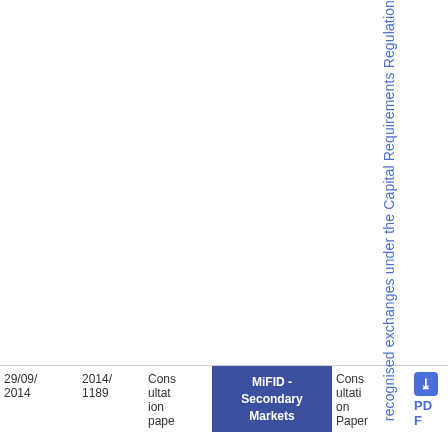recognised exchanges under the Capital Requirements Regulation
| Date | Ref | Title | Category | Type | PDF | Num |
| --- | --- | --- | --- | --- | --- | --- |
| 29/09/2014 | 2014/1189 | Consultation paper | MiFID - Secondary Markets | Consultation Paper | PDF | 42 0.06 |